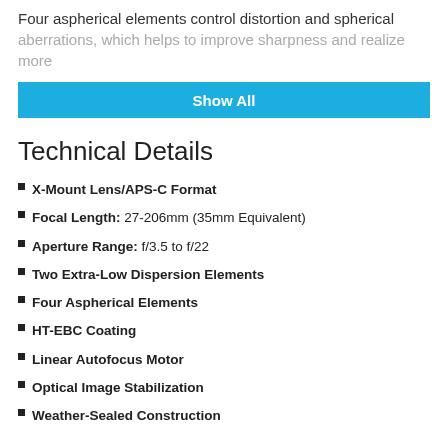Four aspherical elements control distortion and spherical aberrations, which helps to improve sharpness and realize more
[Figure (screenshot): Blue 'Show All' button]
Technical Details
X-Mount Lens/APS-C Format
Focal Length: 27-206mm (35mm Equivalent)
Aperture Range: f/3.5 to f/22
Two Extra-Low Dispersion Elements
Four Aspherical Elements
HT-EBC Coating
Linear Autofocus Motor
Optical Image Stabilization
Weather-Sealed Construction